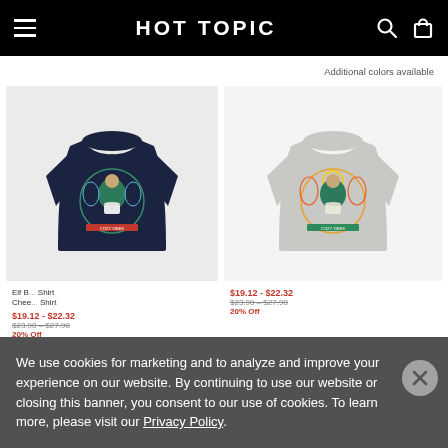HOT TOPIC
Additional colors available
[Figure (photo): Navy blue t-shirt with decorative circular graphic featuring a figure surrounded by ornamental design elements, candy canes, and a coffee cup]
Elf Buddy the...Cheerful Shirt
$19.12 - $22.32
$23.90 – $27.90
20% Off
[Figure (photo): Gray t-shirt with colorful circular graphic featuring a figure surrounded by ornamental orange and yellow decorative design elements and a coffee cup]
$19.12 - $22.32
$23.90 – $27.90
20% Off
We use cookies for marketing and to analyze and improve your experience on our website. By continuing to use our website or closing this banner, you consent to our use of cookies. To learn more, please visit our Privacy Policy.